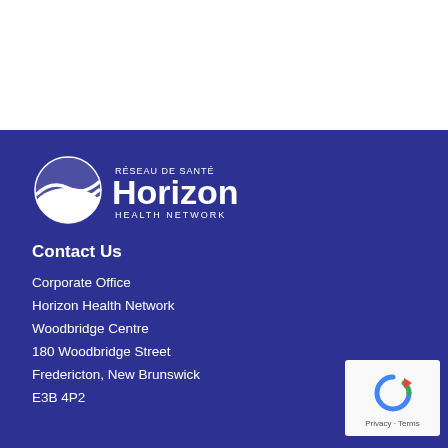[Figure (logo): Horizon Health Network logo — white circular wave emblem with text 'RÉSEAU DE SANTÉ Horizon HEALTH NETWORK' on dark blue background]
Contact Us
Corporate Office
Horizon Health Network
Woodbridge Centre
180 Woodbridge Street
Fredericton, New Brunswick
E3B 4P2